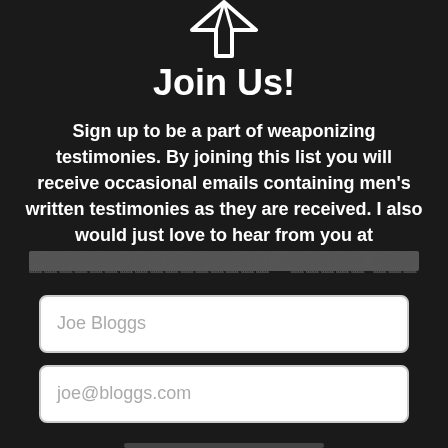[Figure (illustration): White outline icon of a speech bubble or cursor/arrow shape on dark background]
Join Us!
Sign up to be a part of weaponizing testimonies. By joining this list you will receive occasional emails containing men's written testimonies as they are received. I also would just love to hear from you at [redacted email address]
Joe Bloggs (form field placeholder)
joe@bloggs.com (form field placeholder)